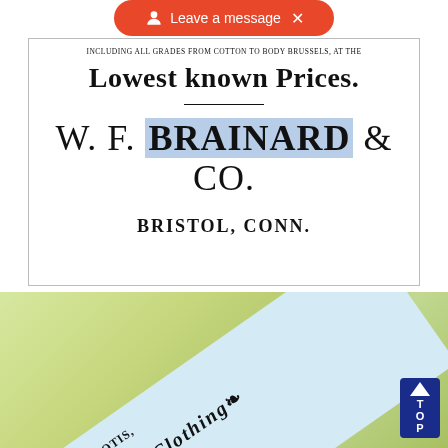[Figure (screenshot): Orange 'Leave a message' UI bar overlay at top of page]
INCLUDING ALL GRADES FROM COTTON TO BODY BRUSSELS, AT THE
Lowest known Prices.
W. F. BRAINARD & CO.
BRISTOL, CONN.
[Figure (photo): Photograph of a light blue business card at an angle on a yellow-green background. Card reads: J. H. OTIS, DEALER IN FINE CLOTHING, HATS, CAPS, AND GENT'S FURNISHING GOODS, and 212 Asylum Street, HARTFORD,]